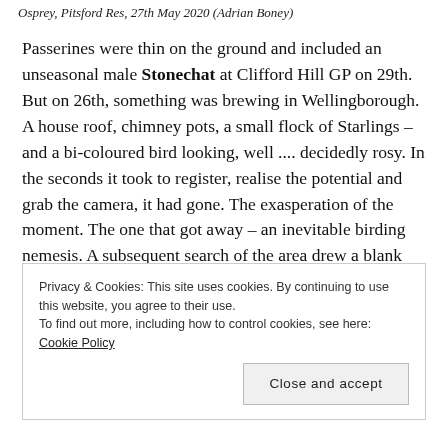Osprey, Pitsford Res, 27th May 2020 (Adrian Boney)
Passerines were thin on the ground and included an unseasonal male Stonechat at Clifford Hill GP on 29th. But on 26th, something was brewing in Wellingborough. A house roof, chimney pots, a small flock of Starlings – and a bi-coloured bird looking, well .... decidedly rosy. In the seconds it took to register, realise the potential and grab the camera, it had gone. The exasperation of the moment. The one that got away – an inevitable birding nemesis. A subsequent search of the area drew a blank but to set it in context, it's not so unlikely. Late May and into June is a prime time for Rose-coloured Starling to
Privacy & Cookies: This site uses cookies. By continuing to use this website, you agree to their use.
To find out more, including how to control cookies, see here: Cookie Policy
reported flock sizes of twenty or more reaching Austria